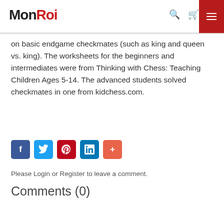MonRoi
on basic endgame checkmates (such as king and queen vs. king). The worksheets for the beginners and intermediates were from Thinking with Chess: Teaching Children Ages 5-14. The advanced students solved checkmates in one from kidchess.com.
[Figure (other): Social sharing buttons: Facebook (blue), Twitter (light blue), Pinterest (red), LinkedIn (dark blue), More/Plus (orange-red)]
Please Login or Register to leave a comment.
Comments (0)